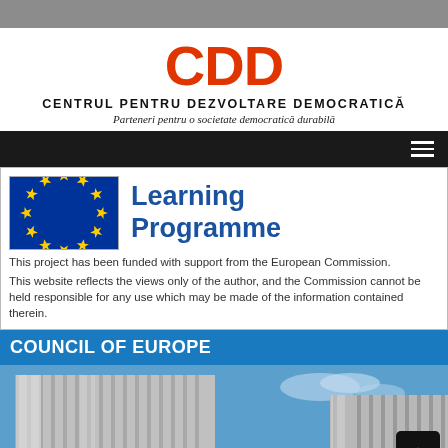[Figure (logo): CDD logo - Centrul Pentru Dezvoltare Democratică with red CDD lettering and italic slogan]
CDD
CENTRUL PENTRU DEZVOLTARE DEMOCRATICĂ
Parteneri pentru o societate democratică durabilă
[Figure (logo): EU flag with yellow stars on blue background alongside Learning Programme text]
This project has been funded with support from the European Commission.
This website reflects the views only of the author, and the Commission cannot be held responsible for any use which may be made of the information contained therein.
COUNCIL OF EUROPE
[Figure (photo): Photograph of the Council of Europe building - cylindrical modern architecture with metallic facade against blue sky]